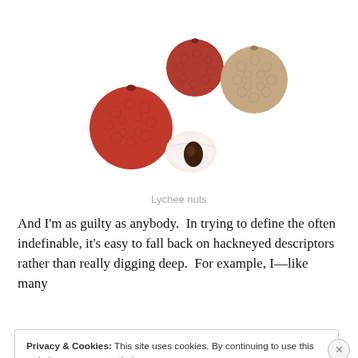[Figure (photo): Four lychee nuts on a white background — three intact with red and tan bumpy skin, one opened showing white flesh and dark seed.]
Lychee nuts
And I'm as guilty as anybody.  In trying to define the often indefinable, it's easy to fall back on hackneyed descriptors rather than really digging deep.  For example, I—like many
Privacy & Cookies: This site uses cookies. By continuing to use this website, you agree to their use.
To find out more, including how to control cookies, see here: Cookie Policy